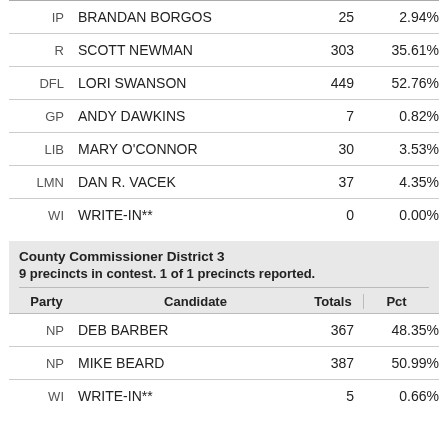| Party | Candidate | Totals | Pct |
| --- | --- | --- | --- |
| IP | BRANDAN BORGOS | 25 | 2.94% |
| R | SCOTT NEWMAN | 303 | 35.61% |
| DFL | LORI SWANSON | 449 | 52.76% |
| GP | ANDY DAWKINS | 7 | 0.82% |
| LIB | MARY O'CONNOR | 30 | 3.53% |
| LMN | DAN R. VACEK | 37 | 4.35% |
| WI | WRITE-IN** | 0 | 0.00% |
County Commissioner District 3
9 precincts in contest. 1 of 1 precincts reported.
| Party | Candidate | Totals | Pct |
| --- | --- | --- | --- |
| NP | DEB BARBER | 367 | 48.35% |
| NP | MIKE BEARD | 387 | 50.99% |
| WI | WRITE-IN** | 5 | 0.66% |